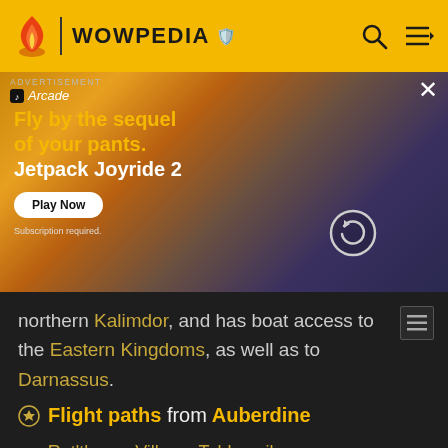WOWPEDIA
[Figure (screenshot): Apple Arcade advertisement for Jetpack Joyride 2 with animated game characters]
northern Kalimdor, and has boat access to the Eastern Kingdoms, as well as to Darnassus.
Flight paths from Auberdine
Rut'theran Village, Teldrassil
Theramore, Dustwallow Marsh
Astranaar, Ashenvale
Stonetalon Peak, Stonetalon Mountains
Nijel's Point, Desolace